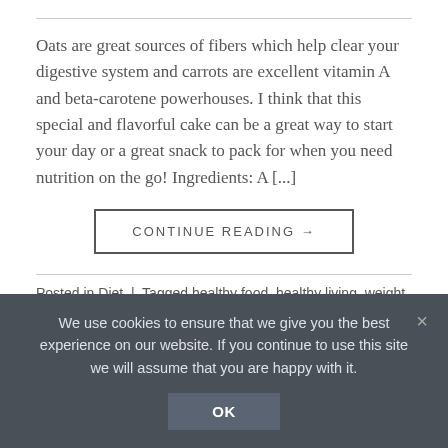Oats are great sources of fibers which help clear your digestive system and carrots are excellent vitamin A and beta-carotene powerhouses. I think that this special and flavorful cake can be a great way to start your day or a great snack to pack for when you need nutrition on the go! Ingredients: A [...]
CONTINUE READING →
Posted in Diet | Tagged healthy food, healthy living, weight loss
Leave a comment
We use cookies to ensure that we give you the best experience on our website. If you continue to use this site we will assume that you are happy with it.
OK